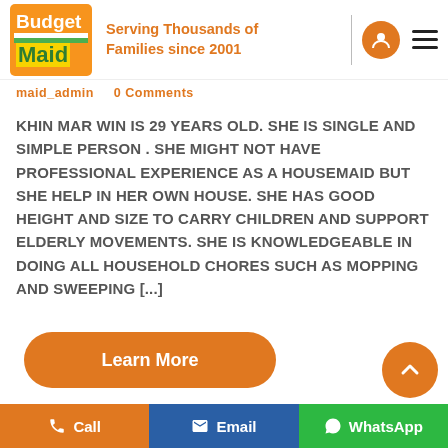[Figure (logo): Budget Maid logo with orange background, white text 'Budget', green/yellow stripe, green text 'Maid']
Serving Thousands of Families since 2001
maid_admin   0 Comments
KHIN MAR WIN IS 29 YEARS OLD. SHE IS SINGLE AND SIMPLE PERSON . SHE MIGHT NOT HAVE PROFESSIONAL EXPERIENCE AS A HOUSEMAID BUT SHE HELP IN HER OWN HOUSE. SHE HAS GOOD HEIGHT AND SIZE TO CARRY CHILDREN AND SUPPORT ELDERLY MOVEMENTS. SHE IS KNOWLEDGEABLE IN DOING ALL HOUSEHOLD CHORES SUCH AS MOPPING AND SWEEPING [...]
Learn More
Call
Email
WhatsApp